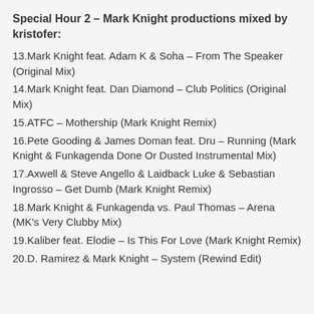Special Hour 2 – Mark Knight productions mixed by kristofer:
13.Mark Knight feat. Adam K & Soha – From The Speaker (Original Mix)
14.Mark Knight feat. Dan Diamond – Club Politics (Original Mix)
15.ATFC – Mothership (Mark Knight Remix)
16.Pete Gooding & James Doman feat. Dru – Running (Mark Knight & Funkagenda Done Or Dusted Instrumental Mix)
17.Axwell & Steve Angello & Laidback Luke & Sebastian Ingrosso – Get Dumb (Mark Knight Remix)
18.Mark Knight & Funkagenda vs. Paul Thomas – Arena (MK's Very Clubby Mix)
19.Kaliber feat. Elodie – Is This For Love (Mark Knight Remix)
20.D. Ramirez & Mark Knight – System (Rewind Edit)